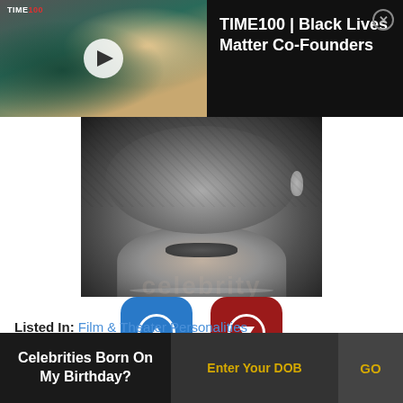[Figure (screenshot): Video thumbnail showing three women posing together, with TIME100 branding. Black overlay panel with title 'TIME100 | Black Lives Matter Co-Founders' and close button.]
[Figure (photo): Black and white close-up portrait photo of a woman wearing diamond jewelry and necklace]
[Figure (infographic): Two vote buttons: blue upvote button showing 33 votes and red downvote button showing 13 votes]
Listed In: Film & Theater Personalities
Birthdate: June 30, 1917
[Figure (infographic): Bottom banner: 'Celebrities Born On My Birthday?' with Enter Your DOB input and GO button]